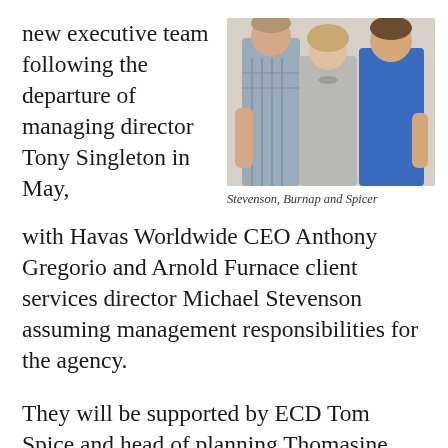new executive team following the departure of managing director Tony Singleton in May,
[Figure (photo): Three people standing together in front of a black and white patterned wall: two men and a woman in the center.]
Stevenson, Burnap and Spicer
with Havas Worldwide CEO Anthony Gregorio and Arnold Furnace client services director Michael Stevenson assuming management responsibilities for the agency.
They will be supported by ECD Tom Spice and head of planning Thomasine Burnap, who will handle the strategy elements of Singleton's role.
Stevenson was promoted from group account director having joined the agency in 2012 after a